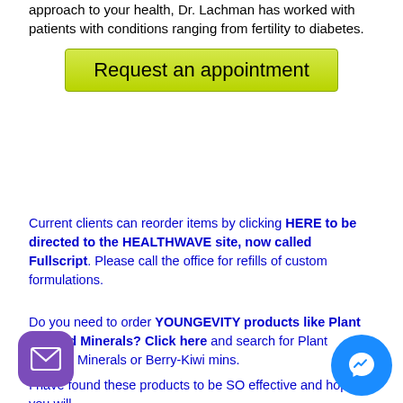approach to your health, Dr. Lachman has worked with patients with conditions ranging from fertility to diabetes.
[Figure (other): Green gradient button labeled 'Request an appointment']
Current clients can reorder items by clicking HERE to be directed to the HEALTHWAVE site, now called Fullscript. Please call the office for refills of custom formulations.
Do you need to order YOUNGEVITY products like Plant Derived Minerals? Click here and search for Plant Derived Minerals or Berry-Kiwi mins.
I have found these products to be SO effective and hope you will
[Figure (other): Purple rounded square mail icon in bottom-left corner]
[Figure (other): Blue circular Facebook Messenger icon in bottom-right corner]